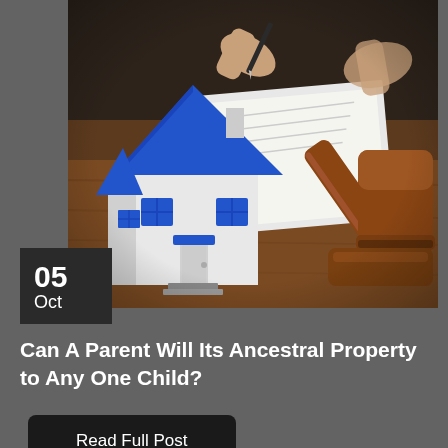[Figure (photo): Photo showing a miniature house model with blue roof and blue window/door accents on the left, and a wooden judge's gavel with sound block on the right, with hands signing a document in the blurred background. Represents legal/property law context.]
05
Oct
Can A Parent Will Its Ancestral Property to Any One Child?
Read Full Post